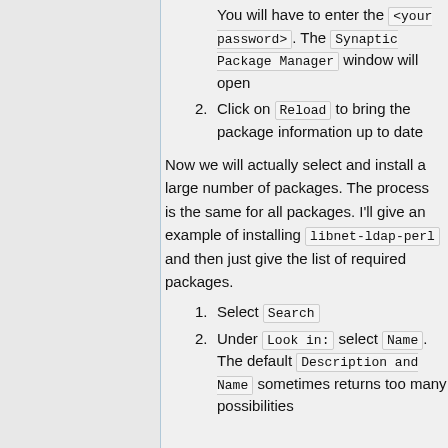You will have to enter the <your password>. The Synaptic Package Manager window will open
Click on Reload to bring the package information up to date
Now we will actually select and install a large number of packages. The process is the same for all packages. I'll give an example of installing libnet-ldap-perl and then just give the list of required packages.
Select Search
Under Look in: select Name . The default Description and Name sometimes returns too many possibilities